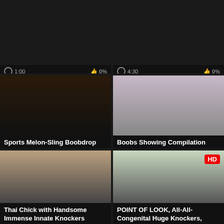[Figure (screenshot): Top-left video card with duration 1:00, 0% likes, tags: pipe, suce, suceuse, ...]
[Figure (screenshot): Top-right video card with duration 4:30, 0% likes, tags: brunette, raven, implants, ...]
[Figure (screenshot): Middle-left video card: Sports Melon-Sling Boobdrop Video from Female-Mate, 0:16, 100%, tags: big boobs, boob drop, bra, ...]
[Figure (screenshot): Middle-right video card: Boobs Showing Compilation, 3:16, 0%, tags: big boobs, teenager, young, ...]
[Figure (screenshot): Bottom-left video card: Thai Chick with Handsome Immense Innate Knockers]
[Figure (screenshot): Bottom-right video card: POINT OF LOOK, All-All-Congenital Huge Knockers, HD badge]